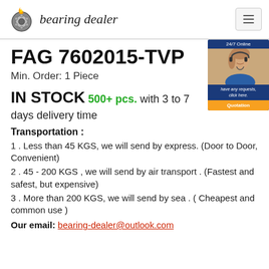bearing dealer
FAG 7602015-TVP
Min. Order: 1 Piece
IN STOCK 500+ pcs. with 3 to 7 days delivery time
[Figure (photo): Customer service representative with headset, 24/7 Online banner, quotation button]
Transportation :
1 . Less than 45 KGS, we will send by express. (Door to Door, Convenient)
2 . 45 - 200 KGS , we will send by air transport . (Fastest and safest, but expensive)
3 . More than 200 KGS, we will send by sea . ( Cheapest and common use )
Our email: bearing-dealer@outlook.com